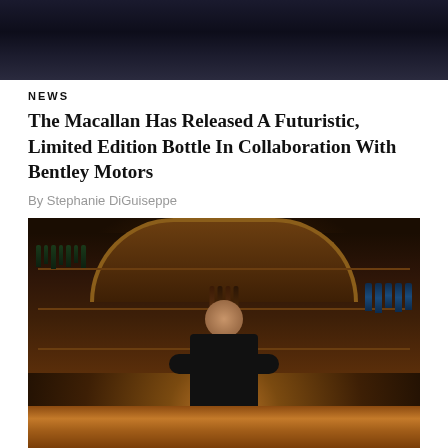[Figure (photo): Dark moody top banner image with dark background]
NEWS
The Macallan Has Released A Futuristic, Limited Edition Bottle In Collaboration With Bentley Motors
By Stephanie DiGuiseppe
[Figure (photo): Man standing behind a bar counter with dark wood shelving, bottles, and ornate arch decoration behind him. He is smiling and wearing a black t-shirt.]